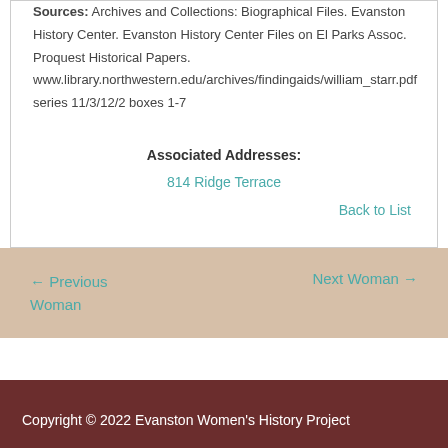Sources: Archives and Collections: Biographical Files. Evanston History Center. Evanston History Center Files on El Parks Assoc. Proquest Historical Papers. www.library.northwestern.edu/archives/findingaids/william_starr.pdf series 11/3/12/2 boxes 1-7
Associated Addresses:
814 Ridge Terrace
Back to List
← Previous Woman
Next Woman →
Copyright © 2022 Evanston Women's History Project